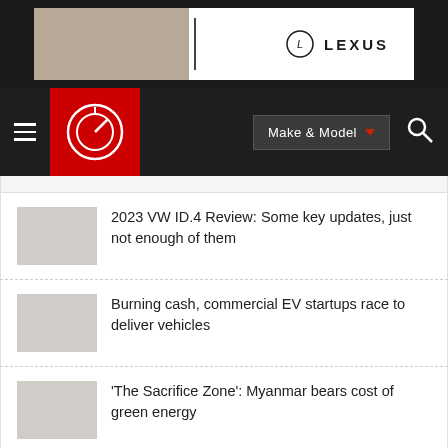[Figure (illustration): Lexus advertisement banner in dark background with vertical divider line and Lexus logo text]
Navigation bar with hamburger menu, Car and Driver logo (red box with white circular logo), Make & Model dropdown button, and search icon
2023 VW ID.4 Review: Some key updates, just not enough of them
Burning cash, commercial EV startups race to deliver vehicles
'The Sacrifice Zone': Myanmar bears cost of green energy
VIEW MORE →